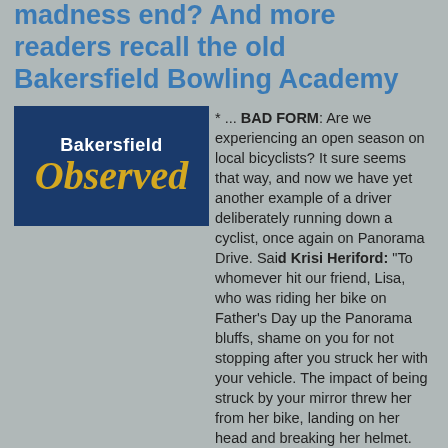madness end? And more readers recall the old Bakersfield Bowling Academy
[Figure (logo): Bakersfield Observed logo — dark blue background with white bold text 'Bakersfield' above italic gold/yellow text 'Observed']
* ... BAD FORM: Are we experiencing an open season on local bicyclists? It sure seems that way, and now we have yet another example of a driver deliberately running down a cyclist, once again on Panorama Drive. Said Krisi Heriford: "To whomever hit our friend, Lisa, who was riding her bike on Father's Day up the Panorama bluffs, shame on you for not stopping after you struck her with your vehicle. The impact of being struck by your mirror threw her from her bike, landing on her head and breaking her helmet. Even though she has a huge hematoma from the impact of your mirror against her arm, and cuts and soreness, she will recover.  Her family, as well as all of her friends, are so ever grateful that she was able to return home, after going to the hospital, to celebrate Father's Day with her family, just in case you were wondering after you sped off if she survived."